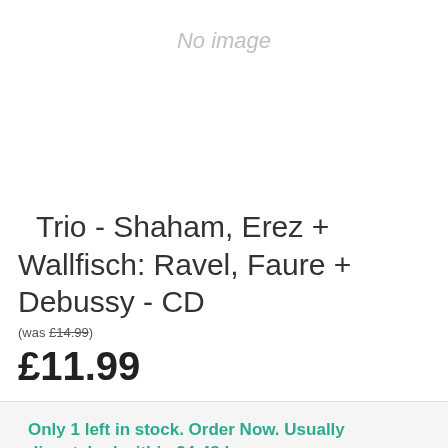[Figure (other): No image placeholder area]
Trio - Shaham, Erez + Wallfisch: Ravel, Faure + Debussy - CD
(was £14.99)
£11.99
Only 1 left in stock. Order Now. Usually dispatched within 24-48 hours